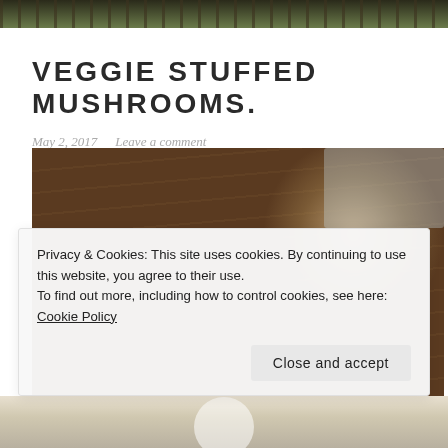[Figure (photo): Top strip showing food/herb image from above]
VEGGIE STUFFED MUSHROOMS.
May 2, 2017   Leave a comment
[Figure (photo): Chopped herbs and portobello mushrooms with stems removed on a wooden cutting board, with a plastic container in the background]
Privacy & Cookies: This site uses cookies. By continuing to use this website, you agree to their use.
To find out more, including how to control cookies, see here: Cookie Policy
Close and accept
[Figure (photo): Bottom strip of another food photo]